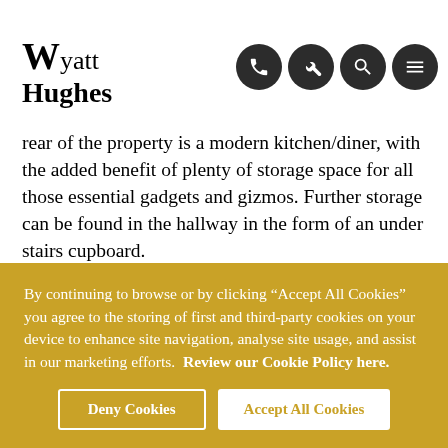Wyatt Hughes
property leads into a spacious hallway. The ground floor has a generous sized reception room, which floods with light thanks to its glazed frontage. To the rear of the property is a modern kitchen/diner, with the added benefit of plenty of storage space for all those essential gadgets and gizmos. Further storage can be found in the hallway in the form of an under stairs cupboard.
The first floor comprises two double bedrooms and a single bedroom. The master features a beautiful bay window, plus useful built-in wardrobes. Also located on this floor is the family bathroom, housing a WC, basin
By continuing to browse or by clicking “Accept All Cookies” you agree to the storing of first and third-party cookies on your device to enhance site navigation, analyse site usage, and assist in our marketing efforts. Review our Cookie Policy here.
Deny Cookies | Accept All Cookies